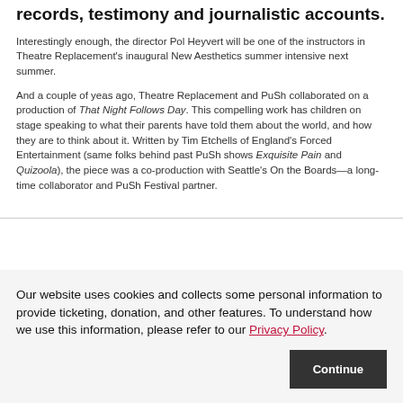records, testimony and journalistic accounts.
Interestingly enough, the director Pol Heyvert will be one of the instructors in Theatre Replacement's inaugural New Aesthetics summer intensive next summer.
And a couple of yeas ago, Theatre Replacement and PuSh collaborated on a production of That Night Follows Day. This compelling work has children on stage speaking to what their parents have told them about the world, and how they are to think about it. Written by Tim Etchells of England's Forced Entertainment (same folks behind past PuSh shows Exquisite Pain and Quizoola), the piece was a co-production with Seattle's On the Boards—a long-time collaborator and PuSh Festival partner.
Our website uses cookies and collects some personal information to provide ticketing, donation, and other features. To understand how we use this information, please refer to our Privacy Policy
Continue